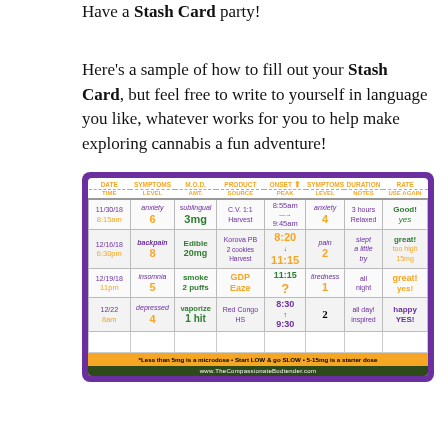Have a Stash Card party!
Here’s a sample of how to fill out your Stash Card, but feel free to write to yourself in language you like, whatever works for you to help make exploring cannabis a fun adventure!
[Figure (table-as-image): Sample Stash Card showing cannabis usage log with columns: DATE/TIME, SYMPTOMS LEVEL, M.O.D. AMT., PRODUCT SOURCE, ONSET PEAK, SYMPTOMS LEVEL, DURATION NOTES, RATE USE AGAIN. Contains 4 data rows and a footer note: *Less than 5mg is a microdose * Start LOW & go SLOW * 5-15mg is a starter dose. Website: www.TheCompassionateBudtender.com]